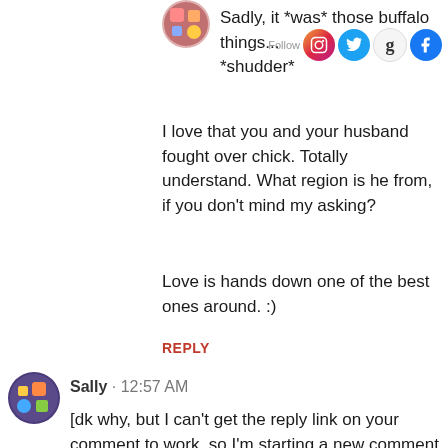[Figure (photo): User avatar at top, colorful circular profile image]
Sadly, it *was* those buffalo things... *shudder*
I love that you and your husband fought over chick. Totally understand. What region is he from, if you don't mind my asking?
Love is hands down one of the best ones around. :)
REPLY
[Figure (photo): Sally user avatar, colorful circular profile image]
Sally · 12:57 AM
[dk why, but I can't get the reply link on your comment to work, so I'm starting a new comment here.]
David grew up in So Cal--Camarillo (just up the